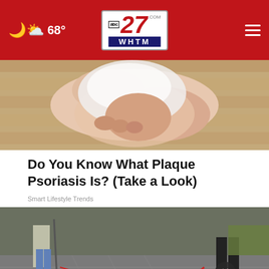abc27.com WHTM — 68°
[Figure (photo): Close-up of a human foot/leg held by a hand, showing skin condition, on a wooden floor background]
Do You Know What Plaque Psoriasis Is? (Take a Look)
Smart Lifestyle Trends
[Figure (photo): Outdoor scene showing people with a dog on leash on pavement, with an advertisement banner overlay reading 'Get Up To $110 Off a Set of 4 Select Firestone Tires' with Firestone Auto logo and close/navigation buttons]